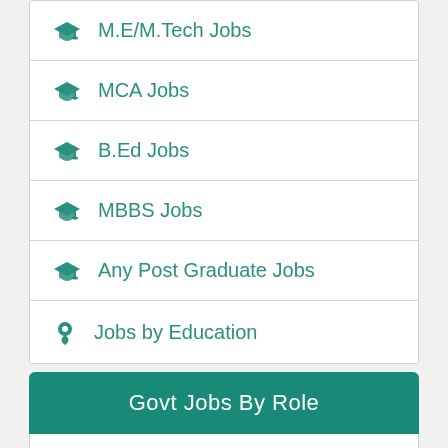M.E/M.Tech Jobs
MCA Jobs
B.Ed Jobs
MBBS Jobs
Any Post Graduate Jobs
Jobs by Education
Govt Jobs By Role
Probationary Officer Jobs